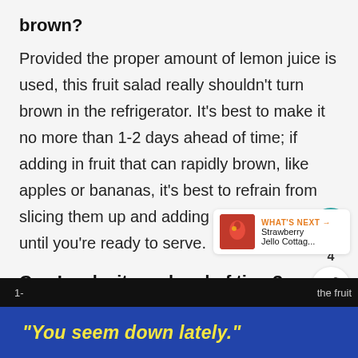brown?
Provided the proper amount of lemon juice is used, this fruit salad really shouldn't turn brown in the refrigerator. It's best to make it no more than 1-2 days ahead of time; if adding in fruit that can rapidly brown, like apples or bananas, it's best to refrain from slicing them up and adding them to the salad until you're ready to serve.
Can I make it up ahead of time?
Again, this recipe is best if made no more than 1-
[Figure (infographic): Circular teal heart/like button icon and share icon with count label '4']
[Figure (infographic): What's Next widget with strawberry image and text 'Strawberry Jello Cottag...']
"You seem down lately."
(dark bar partial text: the fruit)